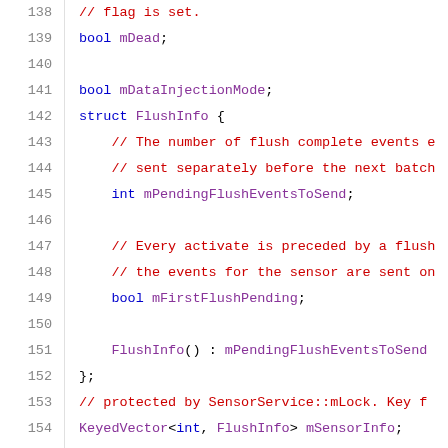[Figure (screenshot): Source code listing in C++ showing struct FlushInfo definition and related member variables, lines 138-159, with syntax highlighting: blue keywords, red comments, purple identifiers.]